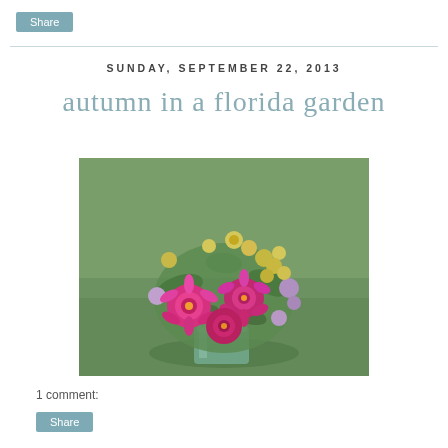Share
SUNDAY, SEPTEMBER 22, 2013
autumn in a florida garden
[Figure (photo): A bouquet of colorful flowers including pink zinnias, yellow flowers, and purple blooms arranged in a glass mason jar, sitting on green grass outdoors.]
1 comment:
Share